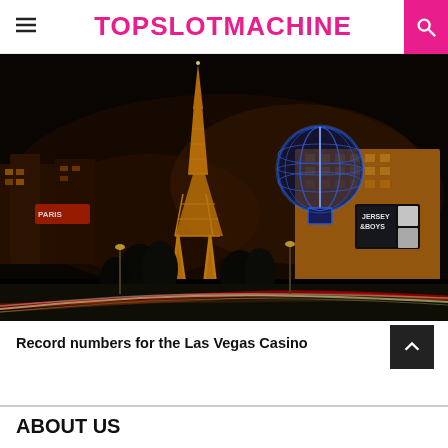TOPSLOTMACHINE
[Figure (photo): Night time photo of the Las Vegas Strip showing the Paris Las Vegas Eiffel Tower replica, illuminated casino buildings, and light trails from traffic on the boulevard]
Record numbers for the Las Vegas Casino
ABOUT US